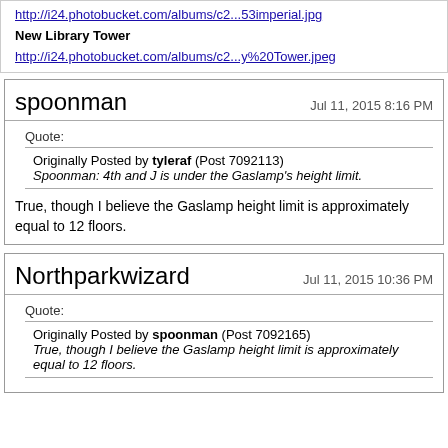http://i24.photobucket.com/albums/c2...53imperial.jpg
New Library Tower
http://i24.photobucket.com/albums/c2...y%20Tower.jpeg
spoonman
Jul 11, 2015 8:16 PM
Quote:
Originally Posted by tyleraf (Post 7092113)
Spoonman: 4th and J is under the Gaslamp's height limit.
True, though I believe the Gaslamp height limit is approximately equal to 12 floors.
Northparkwizard
Jul 11, 2015 10:36 PM
Quote:
Originally Posted by spoonman (Post 7092165)
True, though I believe the Gaslamp height limit is approximately equal to 12 floors.